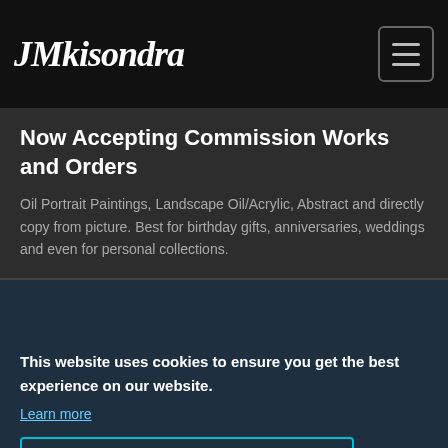JMKisondra
Now Accepting Commission Works and Orders
Oil Portrait Paintings, Landscape Oil/Acrylic, Abstract and directly copy from picture. Best for birthday gifts, anniversaries, weddings and even for personal collections.
This website uses cookies to ensure you get the best experience on our website.
Learn more
Got it!